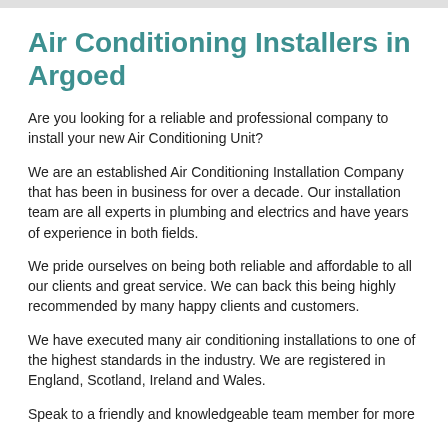Air Conditioning Installers in Argoed
Are you looking for a reliable and professional company to install your new Air Conditioning Unit?
We are an established Air Conditioning Installation Company that has been in business for over a decade. Our installation team are all experts in plumbing and electrics and have years of experience in both fields.
We pride ourselves on being both reliable and affordable to all our clients and great service. We can back this being highly recommended by many happy clients and customers.
We have executed many air conditioning installations to one of the highest standards in the industry. We are registered in England, Scotland, Ireland and Wales.
Speak to a friendly and knowledgeable team member for more